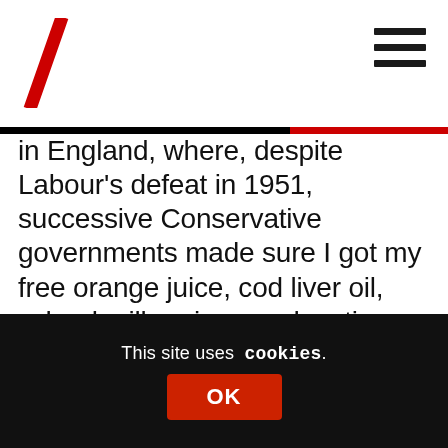[Logo: diagonal red slash mark] [Hamburger menu icon]
in England, where, despite Labour's defeat in 1951, successive Conservative governments made sure I got my free orange juice, cod liver oil, school milk, primary education, health care and dental treatment. In due course there was a full grant to cover all my tuition fees and maintenance when, like thousands of others whose parents could not have afforded it otherwise, I became the first person on the English side of the family ever to go to university.
This site uses cookies.
OK